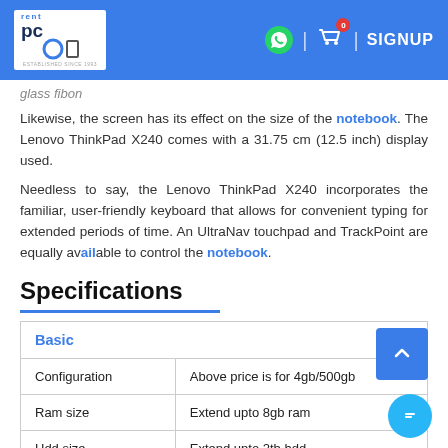rent pc logo | WhatsApp | cart (0) | SIGNUP
glass fibon
Likewise, the screen has its effect on the size of the notebook. The Lenovo ThinkPad X240 comes with a 31.75 cm (12.5 inch) display used.
Needless to say, the Lenovo ThinkPad X240 incorporates the familiar, user-friendly keyboard that allows for convenient typing for extended periods of time. An UltraNav touchpad and TrackPoint are equally available to control the notebook.
Specifications
| Basic |  |
| --- | --- |
| Configuration | Above price is for 4gb/500gb |
| Ram size | Extend upto 8gb ram |
| Hdd size | Extend upto 2tb hdd |